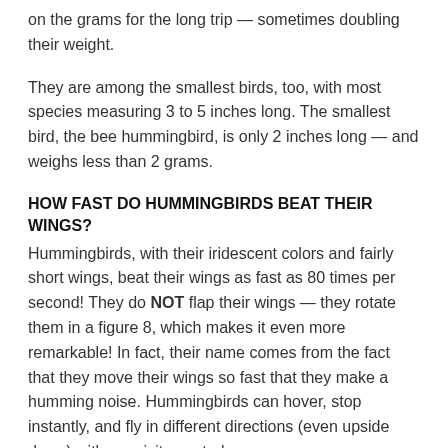on the grams for the long trip — sometimes doubling their weight.
They are among the smallest birds, too, with most species measuring 3 to 5 inches long. The smallest bird, the bee hummingbird, is only 2 inches long — and weighs less than 2 grams.
HOW FAST DO HUMMINGBIRDS BEAT THEIR WINGS?
Hummingbirds, with their iridescent colors and fairly short wings, beat their wings as fast as 80 times per second! They do NOT flap their wings — they rotate them in a figure 8, which makes it even more remarkable! In fact, their name comes from the fact that they move their wings so fast that they make a humming noise. Hummingbirds can hover, stop instantly, and fly in different directions (even upside down) with exquisite control.